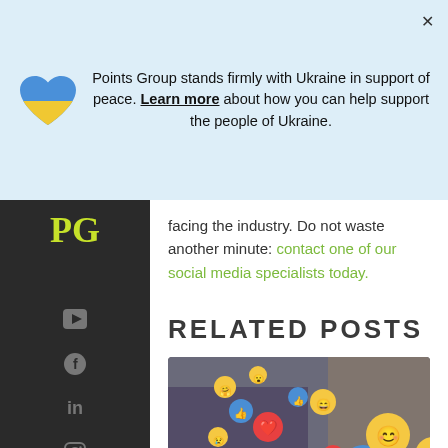Points Group stands firmly with Ukraine in support of peace. Learn more about how you can help support the people of Ukraine.
facing the industry. Do not waste another minute: contact one of our social media specialists today.
RELATED POSTS
[Figure (photo): Social media reaction emojis and icons floating above people using smartphones and tablets]